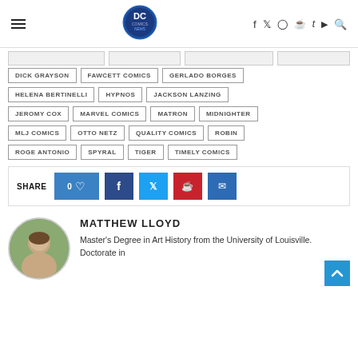DC Comics News — navigation header with logo and social icons
DICK GRAYSON
FAWCETT COMICS
GERLADO BORGES
HELENA BERTINELLI
HYPNOS
JACKSON LANZING
JEROMY COX
MARVEL COMICS
MATRON
MIDNIGHTER
MLJ COMICS
OTTO NETZ
QUALITY COMICS
ROBIN
ROGE ANTONIO
SPYRAL
TIGER
TIMELY COMICS
SHARE — social sharing buttons: 0 likes, Facebook, Twitter, Pinterest, Email
MATTHEW LLOYD
Master's Degree in Art History from the University of Louisville. Doctorate in